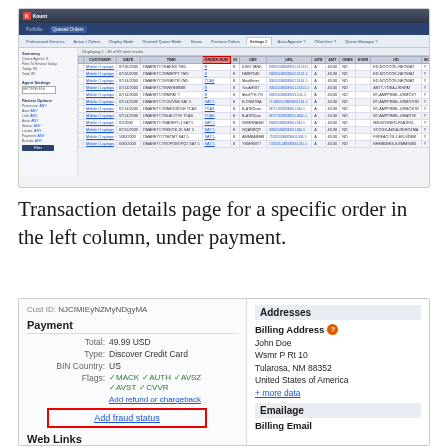[Figure (screenshot): Kount fraud management dashboard showing a list of orders with columns for transaction details, amounts, and risk indicators. One column is highlighted with a red box.]
Transaction details page for a specific order in the left column, under payment.
[Figure (screenshot): Transaction detail panel showing Cust ID, Payment section with Total 49.99 USD, Type Discover Credit Card, BIN Country US, Flags MACK AUTH AVSZ AVST CVVR, Add refund or chargeback link, Add fraud status button highlighted with red border. Right side shows Addresses panel with Billing Address for John Doe at Wsmr P Rt 10, Tularosa NM 88352, United States of America, plus more data link, and Emailage section with Billing Email label.]